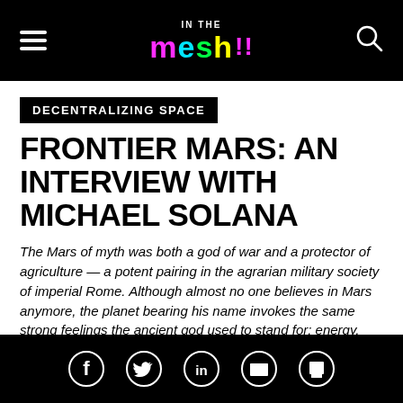IN THE MESH
DECENTRALIZING SPACE
FRONTIER MARS: AN INTERVIEW WITH MICHAEL SOLANA
The Mars of myth was both a god of war and a protector of agriculture — a potent pairing in the agrarian military society of imperial Rome. Although almost no one believes in Mars anymore, the planet bearing his name invokes the same strong feelings the ancient god used to stand for: energy, desire, the [...]
By In The Mesh Staff | 6/4/18 4:07pm EDT
Social sharing icons: Facebook, Twitter, LinkedIn, Email, Print